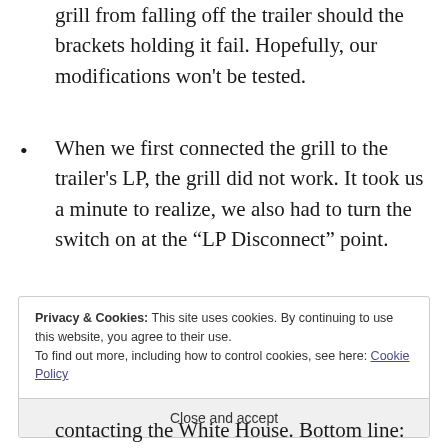grill from falling off the trailer should the brackets holding it fail. Hopefully, our modifications won't be tested.
When we first connected the grill to the trailer's LP, the grill did not work. It took us a minute to realize, we also had to turn the switch on at the “LP Disconnect” point.
Privacy & Cookies: This site uses cookies. By continuing to use this website, you agree to their use.
To find out more, including how to control cookies, see here: Cookie Policy
Close and accept
contacting the White House. Bottom line: